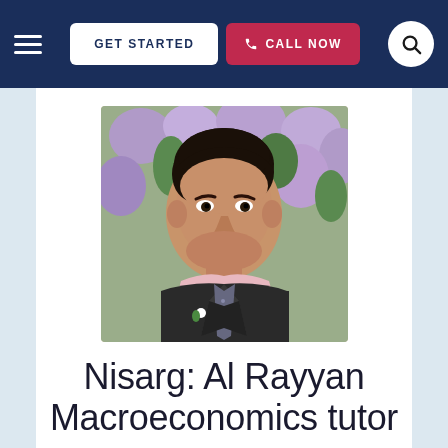GET STARTED | CALL NOW
[Figure (photo): Portrait photo of Nisarg, a young man in a dark suit with a pink shirt and tie, with purple flowers in the background]
Nisarg: Al Rayyan Macroeconomics tutor
Certified Macroeconomics Tutor in Al